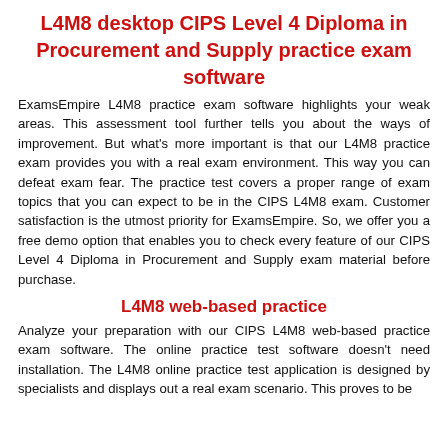L4M8 desktop CIPS Level 4 Diploma in Procurement and Supply practice exam software
ExamsEmpire L4M8 practice exam software highlights your weak areas. This assessment tool further tells you about the ways of improvement. But what's more important is that our L4M8 practice exam provides you with a real exam environment. This way you can defeat exam fear. The practice test covers a proper range of exam topics that you can expect to be in the CIPS L4M8 exam. Customer satisfaction is the utmost priority for ExamsEmpire. So, we offer you a free demo option that enables you to check every feature of our CIPS Level 4 Diploma in Procurement and Supply exam material before purchase.
L4M8 web-based practice
Analyze your preparation with our CIPS L4M8 web-based practice exam software. The online practice test software doesn't need installation. The L4M8 online practice test application is designed by specialists and displays out a real exam scenario. This proves to be